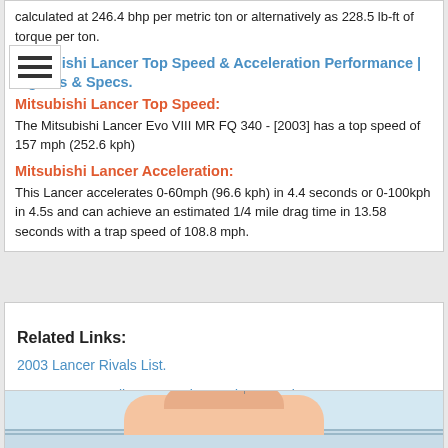calculated at 246.4 bhp per metric ton or alternatively as 228.5 lb-ft of torque per ton.
Mitsubishi Lancer Top Speed & Acceleration Performance | Figures & Specs.
Mitsubishi Lancer Top Speed:
The Mitsubishi Lancer Evo VIII MR FQ 340 - [2003] has a top speed of 157 mph (252.6 kph)
Mitsubishi Lancer Acceleration:
This Lancer accelerates 0-60mph (96.6 kph) in 4.4 seconds or 0-100kph in 4.5s and can achieve an estimated 1/4 mile drag time in 13.58 seconds with a trap speed of 108.8 mph.
Related Links:
2003 Lancer Rivals List.
2003 Lancer: Full Spec Review and Comparisons.
Car Comparison
[Figure (photo): Photo of a Mitsubishi Lancer car, partially visible at the bottom of the page]